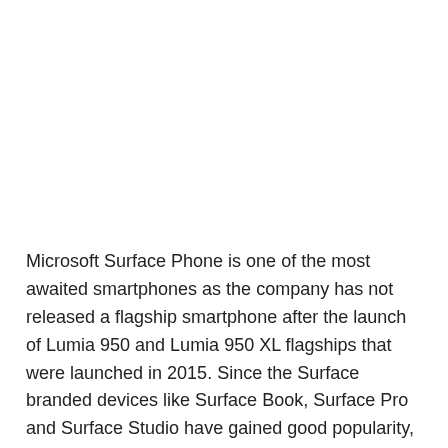Microsoft Surface Phone is one of the most awaited smartphones as the company has not released a flagship smartphone after the launch of Lumia 950 and Lumia 950 XL flagships that were launched in 2015. Since the Surface branded devices like Surface Book, Surface Pro and Surface Studio have gained good popularity, the Redmond giant is heavily pegged to introduce a Surface branded phone.